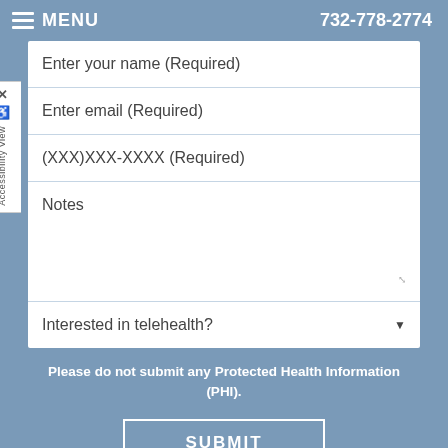MENU   732-778-2774
Enter your name (Required)
Enter email (Required)
(XXX)XXX-XXXX (Required)
Notes
Interested in telehealth?
Please do not submit any Protected Health Information (PHI).
SUBMIT